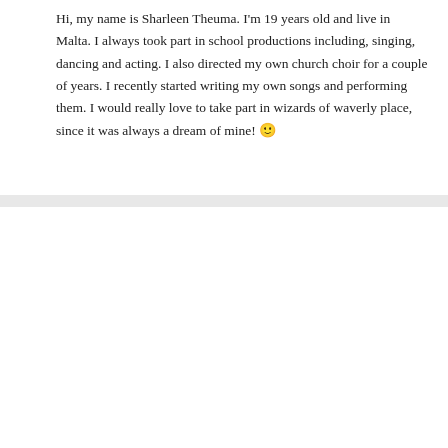Hi, my name is Sharleen Theuma. I'm 19 years old and live in Malta. I always took part in school productions including, singing, dancing and acting. I also directed my own church choir for a couple of years. I recently started writing my own songs and performing them. I would really love to take part in wizards of waverly place, since it was always a dream of mine! 🙂
Andrea  10 years ago  ↩ Reply
Hello I'm Andrea! I'm 20 years old but I look like I'm 16 and I would like to become an actress. I'm not in school so you would have all of my time. I do not have any experience but I catch on quick. I'm willing to play anything I just want a start in this industry.